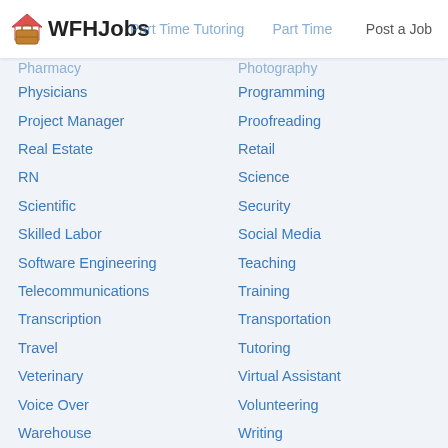WFHJobs | Post a Job
Physicians
Programming
Project Manager
Proofreading
Real Estate
Retail
RN
Science
Scientific
Security
Skilled Labor
Social Media
Software Engineering
Teaching
Telecommunications
Training
Transcription
Transportation
Travel
Tutoring
Veterinary
Virtual Assistant
Voice Over
Volunteering
Warehouse
Writing
Air Force
Amazon
Apple
Best Buy